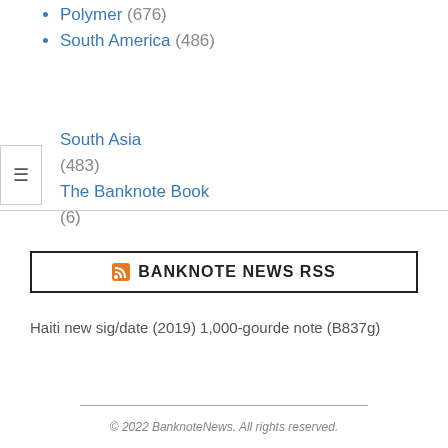Polymer (676)
South America (486)
South Asia (483)
The Banknote Book (6)
BANKNOTE NEWS RSS
Haiti new sig/date (2019) 1,000-gourde note (B837g)
© 2022 BanknoteNews. All rights reserved.